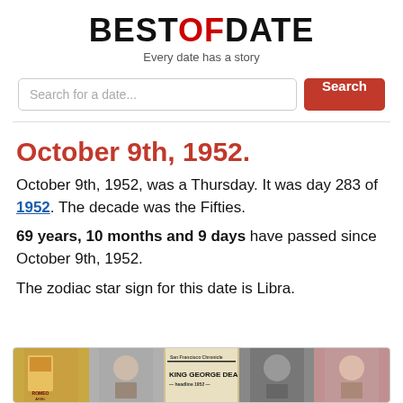BEST OF DATE — Every date has a story
October 9th, 1952.
October 9th, 1952, was a Thursday. It was day 283 of 1952. The decade was the Fifties.
69 years, 10 months and 9 days have passed since October 9th, 1952.
The zodiac star sign for this date is Libra.
[Figure (photo): A strip of historical photos related to October 9th, 1952, including movie posters and newspaper headlines such as 'KING GEORGE DEAD']